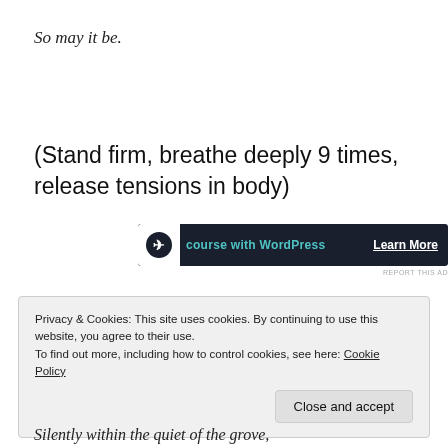So may it be.
(Stand firm, breathe deeply 9 times, release tensions in body)
[Figure (other): Advertisement banner with dark background showing a WordPress course ad with 'Learn More' link and 'REPORT THIS AD' label below]
Privacy & Cookies: This site uses cookies. By continuing to use this website, you agree to their use.
To find out more, including how to control cookies, see here: Cookie Policy
[Close and accept button]
Silently within the quiet of the grove,